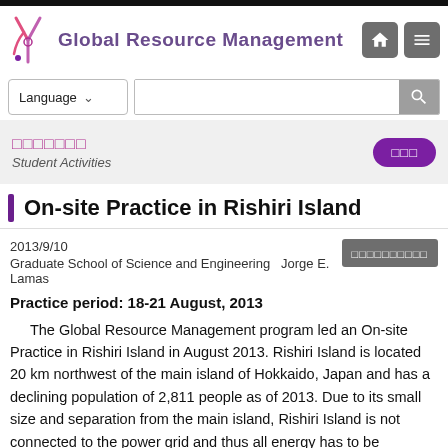Global Resource Management
学生活動 / Student Activities
On-site Practice in Rishiri Island
2013/9/10
Graduate School of Science and Engineering   Jorge E. Lamas
Practice period: 18-21 August, 2013
The Global Resource Management program led an On-site Practice in Rishiri Island in August 2013. Rishiri Island is located 20 km northwest of the main island of Hokkaido, Japan and has a declining population of 2,811 people as of 2013. Due to its small size and separation from the main island, Rishiri Island is not connected to the power grid and thus all energy has to be produced within the island. The objective of the On-site